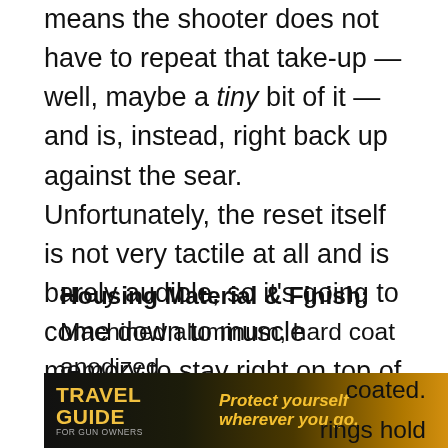means the shooter does not have to repeat that take-up — well, maybe a tiny bit of it — and is, instead, right back up against the sear. Unfortunately, the reset itself is not very tactile at all and is barely audible, so it's going to come down to muscle memory to stay right on top of it.
Housing Material & Finish: Machined aluminum, hard coat anodized
Trigger Shoe/Disconnector/Hammer Material & Finish: Hammer and sear are hardened S7 tool steel. Trigger shoe [coated.] [rings hold]
[Figure (photo): Advertisement banner for Travel Guide for Gun Owners featuring text 'Protect yourself wherever you go.' with yellow arrows and US LawShield branding, dark background with scenic imagery.]